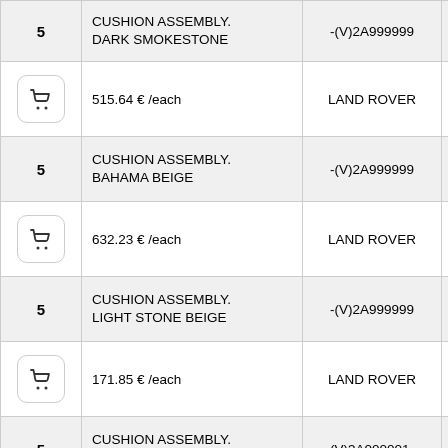| Qty | Description | Fitment |  |
| --- | --- | --- | --- |
| 5 | CUSHION ASSEMBLY. DARK SMOKESTONE | -(V)2A999999 |  |
| [cart] | 515.64 € /each | LAND ROVER |  |
| 5 | CUSHION ASSEMBLY. BAHAMA BEIGE | -(V)2A999999 |  |
| [cart] | 632.23 € /each | LAND ROVER |  |
| 5 | CUSHION ASSEMBLY. LIGHT STONE BEIGE | -(V)2A999999 |  |
| [cart] | 171.85 € /each | LAND ROVER |  |
| 5 | CUSHION ASSEMBLY. BLACK, RH | (V)3A000001- |  |
| 5 | CUSHION ASSEMBLY. RH, DARK AND LIGHT TUNDRA | (V)3A000001- |  |
| [cart] | 311.93 € /each | LAND ROVER |  |